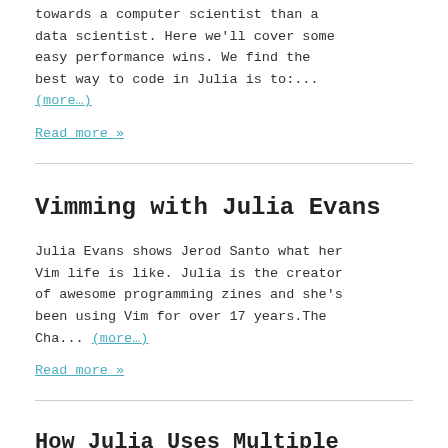towards a computer scientist than a data scientist. Here we'll cover some easy performance wins. We find the best way to code in Julia is to:... (more…)
Read more »
Vimming with Julia Evans
Julia Evans shows Jerod Santo what her Vim life is like. Julia is the creator of awesome programming zines and she's been using Vim for over 17 years.The Cha... (more…)
Read more »
How Julia Uses Multiple Dispatch to Beat Python